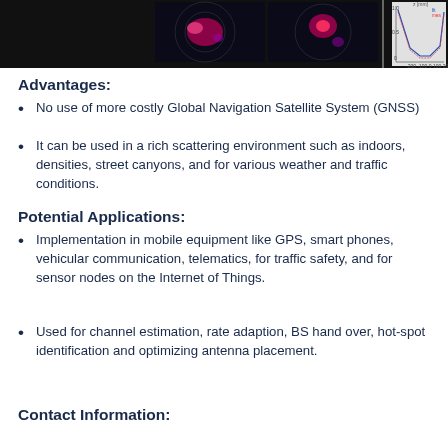[Figure (other): Top portion of page showing scientific images with colormap (phase images, dark with red/pink highlights) and a line graph on the right side. Partial view cropped at top.]
Advantages:
No use of more costly Global Navigation Satellite System (GNSS)
It can be used in a rich scattering environment such as indoors, densities, street canyons, and for various weather and traffic conditions.
Potential Applications:
Implementation in mobile equipment like GPS, smart phones, vehicular communication, telematics, for traffic safety, and for sensor nodes on the Internet of Things.
Used for channel estimation, rate adaption, BS hand over, hot-spot identification and optimizing antenna placement.
Contact Information: